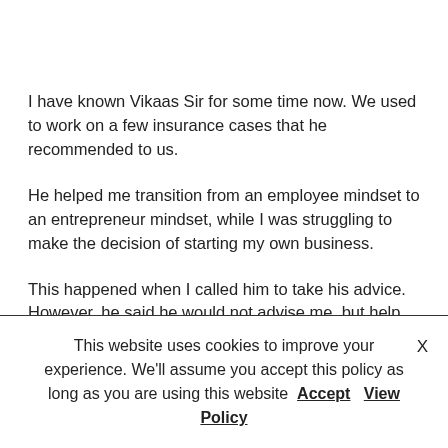I have known Vikaas Sir for some time now. We used to work on a few insurance cases that he recommended to us.
He helped me transition from an employee mindset to an entrepreneur mindset, while I was struggling to make the decision of starting my own business.
This happened when I called him to take his advice. However, he said he would not advise me, but help me
This website uses cookies to improve your experience. We'll assume you accept this policy as long as you are using this website  Accept  View Policy